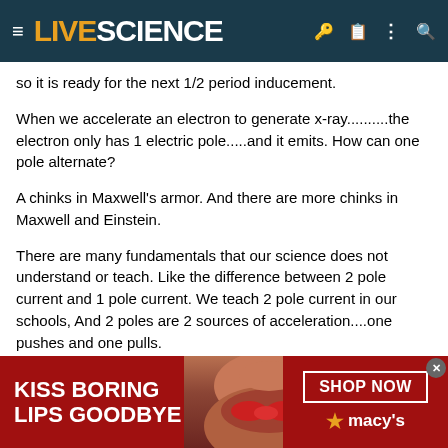LIVE SCIENCE
so it is ready for the next 1/2 period inducement.
When we accelerate an electron to generate x-ray..........the electron only has 1 electric pole.....and it emits. How can one pole alternate?
A chinks in Maxwell's armor. And there are more chinks in Maxwell and Einstein.
There are many fundamentals that our science does not understand or teach. Like the difference between 2 pole current and 1 pole current. We teach 2 pole current in our schools, And 2 poles are 2 sources of acceleration....one pushes and one pulls.
But an antenna is a 1 pole current......in which acts in a foreign way to modern science.
[Figure (advertisement): Macy's advertisement with red background showing woman's face with red lipstick, text 'KISS BORING LIPS GOODBYE' and 'SHOP NOW' button with Macy's star logo]